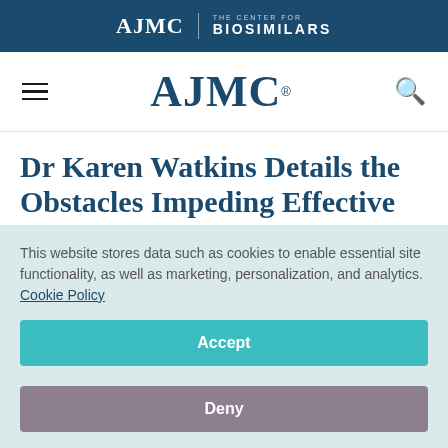AJMC | THE CENTER FOR BIOSIMILARS
[Figure (logo): AJMC navigation logo with hamburger menu and search icon]
Dr Karen Watkins Details the Obstacles Impeding Effective
This website stores data such as cookies to enable essential site functionality, as well as marketing, personalization, and analytics. Cookie Policy
Accept
Deny